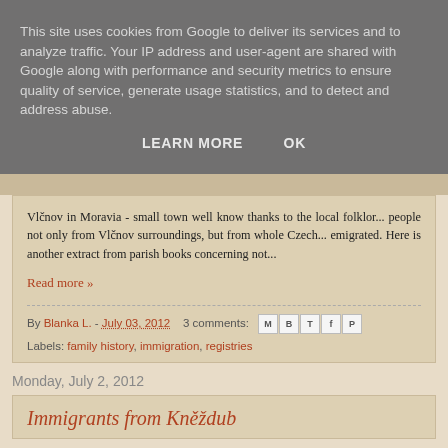This site uses cookies from Google to deliver its services and to analyze traffic. Your IP address and user-agent are shared with Google along with performance and security metrics to ensure quality of service, generate usage statistics, and to detect and address abuse.
LEARN MORE    OK
Vlčnov in Moravia - small town well know thanks to the local folklor... people not only from Vlčnov surroundings, but from whole Czech... emigrated. Here is another extract from parish books concerning not...
Read more »
By Blanka L. - July 03, 2012    3 comments:
Labels: family history, immigration, registries
Monday, July 2, 2012
Immigrants from Kněždub